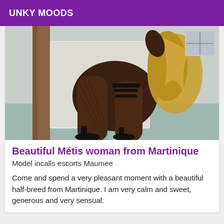UNKY MOODS
[Figure (photo): A person in fishnet stockings, leather high heels, and a strappy outfit posed against a wall with a wooden door frame, with braided blonde hair. The photo is taken from behind.]
Beautiful Métis woman from Martinique
Model incalls escorts Maumee
Come and spend a very pleasant moment with a beautiful half-breed from Martinique. I am very calm and sweet, generous and very sensual.